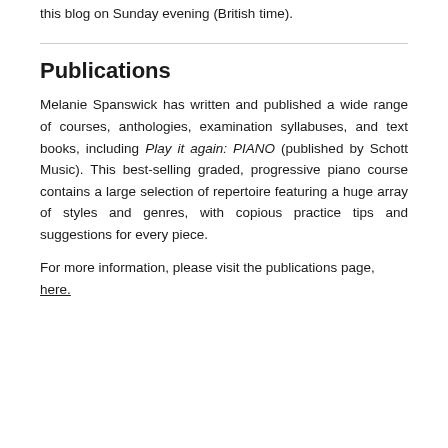this blog on Sunday evening (British time).
Publications
Melanie Spanswick has written and published a wide range of courses, anthologies, examination syllabuses, and text books, including Play it again: PIANO (published by Schott Music). This best-selling graded, progressive piano course contains a large selection of repertoire featuring a huge array of styles and genres, with copious practice tips and suggestions for every piece.
For more information, please visit the publications page, here.